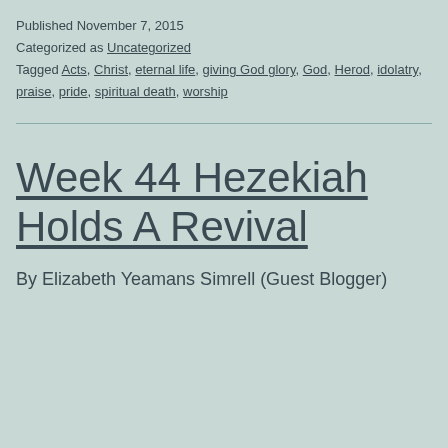Published November 7, 2015
Categorized as Uncategorized
Tagged Acts, Christ, eternal life, giving God glory, God, Herod, idolatry, praise, pride, spiritual death, worship
Week 44 Hezekiah Holds A Revival
By Elizabeth Yeamans Simrell (Guest Blogger)